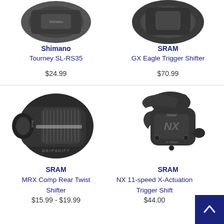[Figure (photo): Shimano Tourney SL-RS35 shifter product image (top, partial)]
Shimano
Tourney SL-RS35
$24.99
[Figure (photo): SRAM GX Eagle Trigger Shifter product image (top, partial)]
SRAM
GX Eagle Trigger Shifter
$70.99
[Figure (photo): SRAM MRX Comp Rear Twist Shifter product image]
SRAM
MRX Comp Rear Twist Shifter
$15.99 - $19.99
[Figure (photo): SRAM NX 11-speed X-Actuation Trigger Shift product image]
SRAM
NX 11-speed X-Actuation Trigger Shift
$44.00